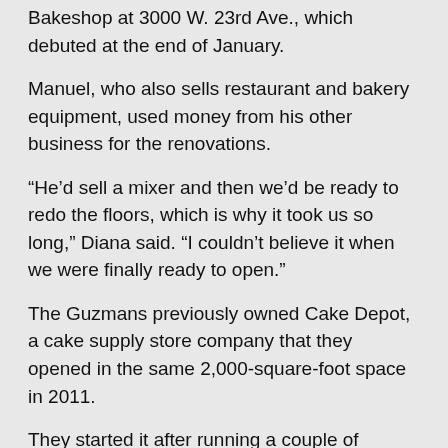Bakeshop at 3000 W. 23rd Ave., which debuted at the end of January.
Manuel, who also sells restaurant and bakery equipment, used money from his other business for the renovations.
“He’d sell a mixer and then we’d be ready to redo the floors, which is why it took us so long,” Diana said. “I couldn’t believe it when we were finally ready to open.”
The Guzmans previously owned Cake Depot, a cake supply store company that they opened in the same 2,000-square-foot space in 2011.
They started it after running a couple of Mexican bakeries inside Save A Lots around town, where they realized there was a gap in the market for cake supplies.